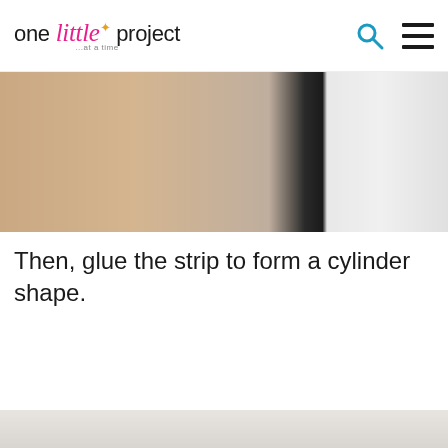one little project ...at a time
[Figure (photo): Close-up photo of a hand holding or gluing a black object against a white/light background, showing craft activity in progress.]
Then, glue the strip to form a cylinder shape.
[Figure (photo): Partial view of a photo at the bottom of the page, showing the next step of the craft project.]